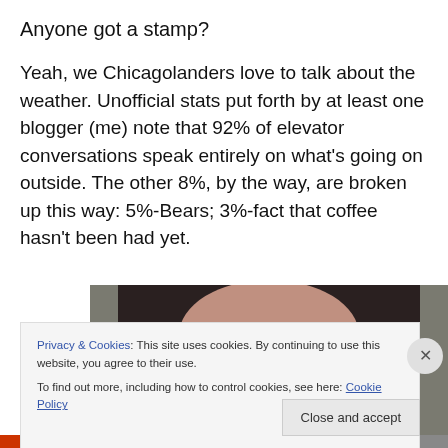Anyone got a stamp?
Yeah, we Chicagolanders love to talk about the weather. Unofficial stats put forth by at least one blogger (me) note that 92% of elevator conversations speak entirely on what's going on outside. The other 8%, by the way, are broken up this way: 5%-Bears; 3%-fact that coffee hasn't been had yet.
[Figure (photo): Photo of a person wearing a blue patterned bow tie, dark background]
Privacy & Cookies: This site uses cookies. By continuing to use this website, you agree to their use.
To find out more, including how to control cookies, see here: Cookie Policy